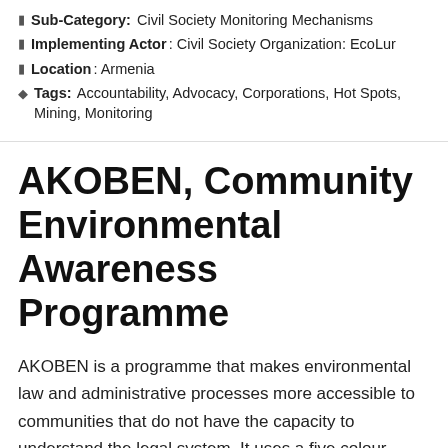Sub-Category: Civil Society Monitoring Mechanisms
Implementing Actor: Civil Society Organization: EcoLur
Location: Armenia
Tags: Accountability, Advocacy, Corporations, Hot Spots, Mining, Monitoring
AKOBEN, Community Environmental Awareness Programme
AKOBEN is a programme that makes environmental law and administrative processes more accessible to communities that do not have the capacity to understand the legal system. It uses a five colour rating scheme to assess the performance of mining and manufacturing operations in a manner that is easily understood by the public. Ratings are annually disclosed to the general ...